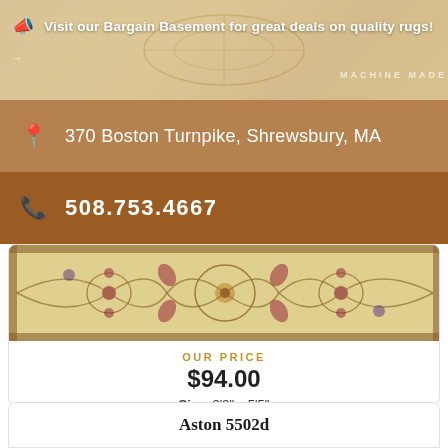Visit our Bargain Basement for great deals on quality rugs!
370 Boston Turnpike, Shrewsbury, MA
508.753.4667
[Figure (photo): Decorative floral rug with cream background, red and purple floral motifs, and ornate border pattern]
OUR PRICE
$94.00
Size: 3'3" x 5'5"
VIEW PRODUCT
Aston 5502d